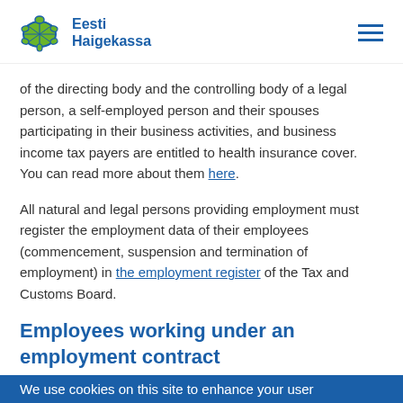Eesti Haigekassa
of the directing body and the controlling body of a legal person, a self-employed person and their spouses participating in their business activities, and business income tax payers are entitled to health insurance cover. You can read more about them here.
All natural and legal persons providing employment must register the employment data of their employees (commencement, suspension and termination of employment) in the employment register of the Tax and Customs Board.
Employees working under an employment contract
We use cookies on this site to enhance your user